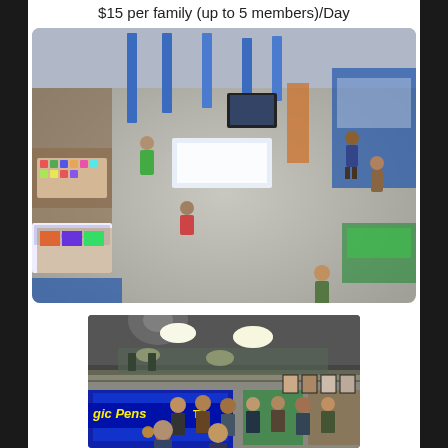$15 per family (up to 5 members)/Day
[Figure (photo): Aerial/overhead view of an indoor expo or fair with many vendors and booths, colorful displays, and many people walking around a large convention hall floor.]
[Figure (photo): Interior view of an indoor convention or expo hall showing vendor booths including a 'Magic Pens TV' booth, with crowds of visitors and ceiling lights visible.]